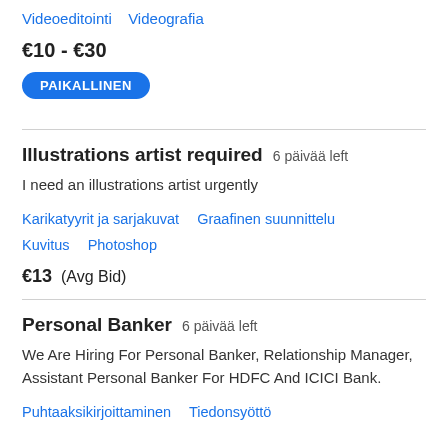Videoeditointi   Videografia
€10 - €30
PAIKALLINEN
Illustrations artist required  6 päivää left
I need an illustrations artist urgently
Karikatyyrit ja sarjakuvat   Graafinen suunnittelu   Kuvitus   Photoshop
€13  (Avg Bid)
Personal Banker  6 päivää left
We Are Hiring For Personal Banker, Relationship Manager, Assistant Personal Banker For HDFC And ICICI Bank.
Puhtaaksikirjoittaminen   Tiedonsyöttö